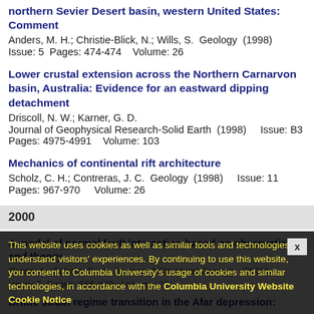Extensional tectonics along the Sevier Desert Paleorift, northern Sevier Desert basin, western United States: Comment
Anders, M. H.; Christie-Blick, N.; Wills, S.  Geology  (1998)
Issue: 5  Pages: 474-474    Volume: 26
Lower crustal extension across the Northern Carnarvon basin, Australia: Evidence for an eastward dipping detachment
Driscoll, N. W.; Karner, G. D.
Journal of Geophysical Research-Solid Earth  (1998)    Issue: B3
Pages: 4975-4991    Volume: 103
Mechanics of continental rift architecture
Scholz, C. H.; Contreras, J. C.  Geology  (1998)    Issue: 11
Pages: 967-970    Volume: 26
2000
A model of normal fault interaction based on observations and theory
Gupta, A.; Scholz, C. H.  Journal of Structural Geology  (2000)
Issue: 7  Pages: 865-879  Volume: 22
Brittle strain regime transition in the Afar depression:
This website uses cookies as well as similar tools and technologies to understand visitors' experiences. By continuing to use this website, you consent to Columbia University's usage of cookies and similar technologies, in accordance with the Columbia University Website Cookie Notice